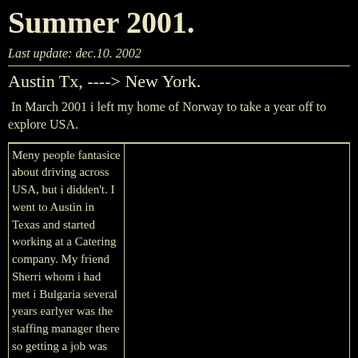Summer 2001.
Last update: dec.10. 2002
Austin Tx, ----> New York.
In March 2001 i left my home of Norway to take a year off to explore USA.
Meny people fantasice about driving across USA, but i didden't. I went to Austin in Texas and started working at a Catering company. My friend Sherri whom i had met i Bulgaria several years earlyer was the staffing manager there so getting a job was easy. now i had to not